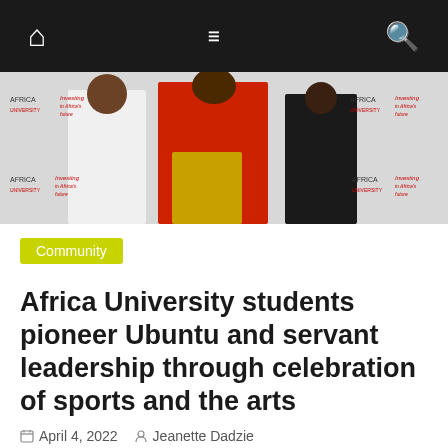Navigation bar with home, menu, and search icons
[Figure (photo): Three people posing in front of an Africa University branded step-and-repeat banner. Left person in white outfit, center person in red and gold outfit, right person in black dress.]
Community
Africa University students pioneer Ubuntu and servant leadership through celebration of sports and the arts
April 4, 2022  Jeanette Dadzie
1 April 2022 Africa University's student body celebrated their talent, cultural identity and ubuntu in style at the